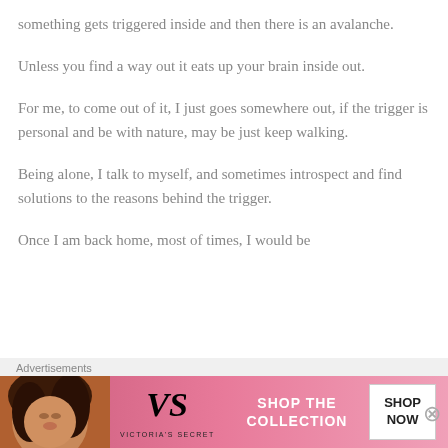something gets triggered inside and then there is an avalanche.
Unless you find a way out it eats up your brain inside out.
For me, to come out of it, I just goes somewhere out, if the trigger is personal and be with nature, may be just keep walking.
Being alone, I talk to myself, and sometimes introspect and find solutions to the reasons behind the trigger.
Once I am back home, most of times, I would be
Advertisements
[Figure (photo): Victoria's Secret advertisement banner with a model, VS logo, 'SHOP THE COLLECTION' text, and 'SHOP NOW' button]